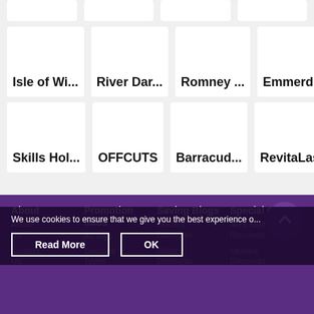[Figure (screenshot): Partial top row of grid cards (cropped at top of page)]
Isle of Wi...
River Dar...
Romney ...
Emmerd...
Skills Hol...
OFFCUTS
Barracud...
RevitaLash
About  Promotion Infos  Saving Blogs  Special Offer
About Us  All Tags  Student Discounts  NHS Staff Discounts
Contact Us  Discount Types  Military Discounts  Student Discounts
We use cookies to ensure that we give you the best experience o...
Read More  OK